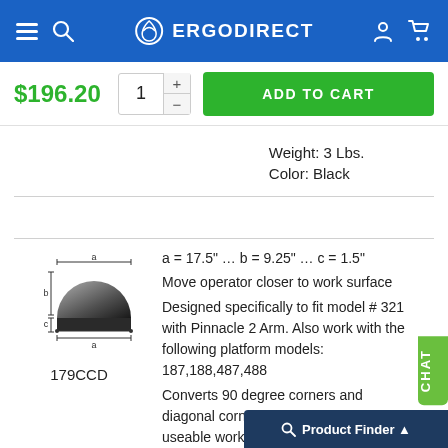ERGODIRECT
$196.20
ADD TO CART
Weight: 3 Lbs.
Color: Black
[Figure (illustration): Technical diagram of a semicircular ergonomic platform labeled 179CCD with dimensions a = 17.5", b = 9.25", c = 1.5" shown with arrows]
a = 17.5" ... b = 9.25" ... c = 1.5"
Move operator closer to work surface
Designed specifically to fit model # 321 with Pinnacle 2 Arm. Also work with the following platform models: 187,188,487,488
Converts 90 degree corners and diagonal corners less than 17" to useable work area
Weight: 4 Lbs
Color: Black/Gary